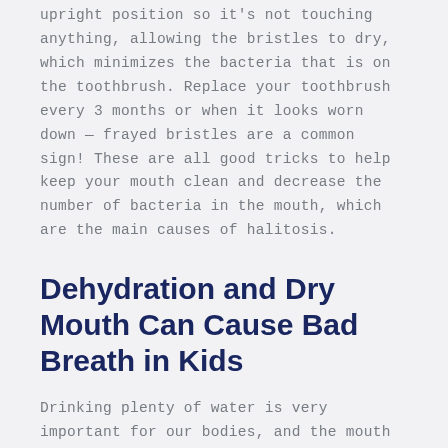upright position so it's not touching anything, allowing the bristles to dry, which minimizes the bacteria that is on the toothbrush. Replace your toothbrush every 3 months or when it looks worn down — frayed bristles are a common sign! These are all good tricks to help keep your mouth clean and decrease the number of bacteria in the mouth, which are the main causes of halitosis.
Dehydration and Dry Mouth Can Cause Bad Breath in Kids
Drinking plenty of water is very important for our bodies, and the mouth is no different! Dehydration is one of the leading causes of bad breath. When we don't drink enough water, the amount of saliva in our mouths decreases. This decrease in spit leads